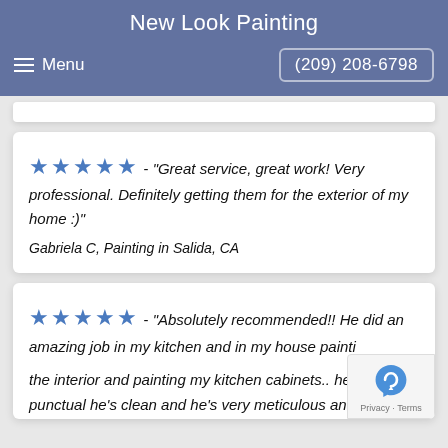New Look Painting
Menu   (209) 208-6798
★★★★★ - "Great service, great work! Very professional. Definitely getting them for the exterior of my home :)"
Gabriela C, Painting in Salida, CA
★★★★★ - "Absolutely recommended!! He did an amazing job in my kitchen and in my house painting the interior and painting my kitchen cabinets.. he's punctual he's clean and he's very meticulous and